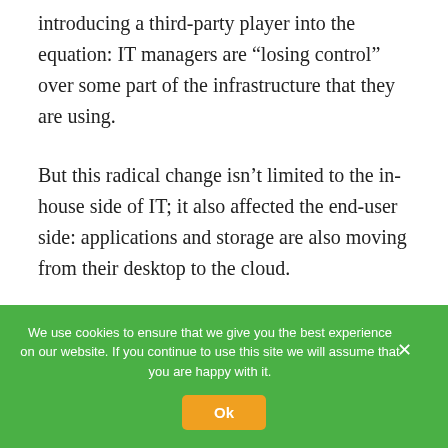introducing a third-party player into the equation: IT managers are “losing control” over some part of the infrastructure that they are using.
But this radical change isn’t limited to the in-house side of IT; it also affected the end-user side: applications and storage are also moving from their desktop to the cloud.
To ti...
We use cookies to ensure that we give you the best experience on our website. If you continue to use this site we will assume that you are happy with it.